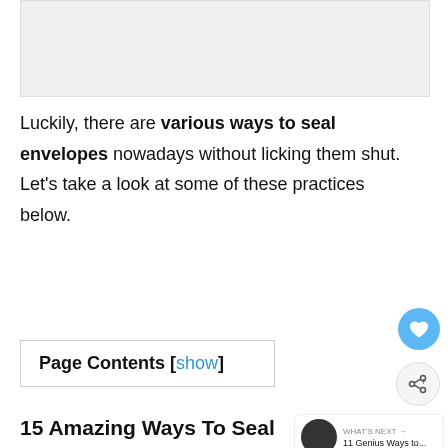[Figure (photo): Placeholder image area at top of page]
Luckily, there are various ways to seal envelopes nowadays without licking them shut. Let's take a look at some of these practices below.
Page Contents [show]
15 Amazing Ways To Seal